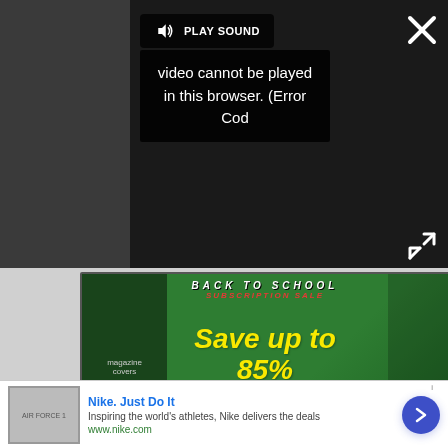[Figure (screenshot): Video player UI showing dark background with PLAY SOUND button and error message: 'Video cannot be played in this browser. (Error Cod' with close X button top-right and expand button bottom-right]
[Figure (screenshot): Magazine subscription advertisement banner on green chalkboard background showing 'BACK TO SCHOOL SUBSCRIPTION SALE Save up to 85% SUBSCRIBE TODAY!' with magazine covers on the left side and school supplies on the right]
[Figure (screenshot): Nike advertisement bar at bottom showing 'Nike. Just Do It' with tagline 'Inspiring the world's athletes, Nike delivers the deals' and www.nike.com URL, with thumbnail image and arrow button]